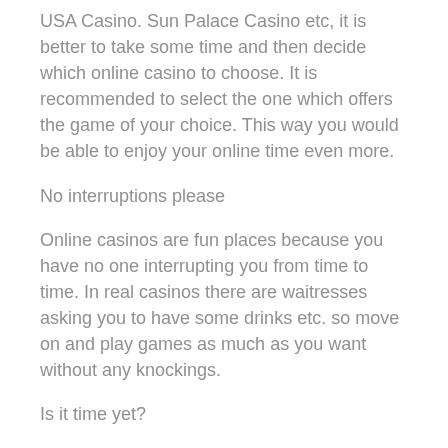USA Casino. Sun Palace Casino etc, it is better to take some time and then decide which online casino to choose. It is recommended to select the one which offers the game of your choice. This way you would be able to enjoy your online time even more.
No interruptions please
Online casinos are fun places because you have no one interrupting you from time to time. In real casinos there are waitresses asking you to have some drinks etc. so move on and play games as much as you want without any knockings.
Is it time yet?
Many people love the idea of online poker and casino games because they can play them anytime they want. There is no time they have to stop and think before clicking the button on the internet. So even if they have